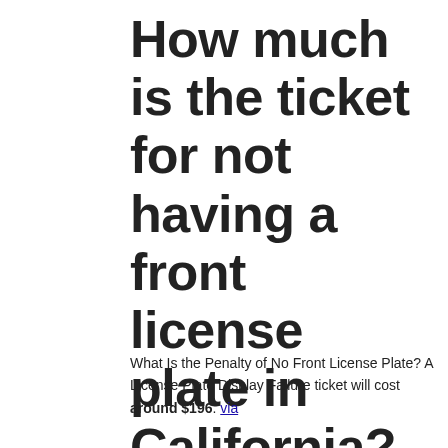How much is the ticket for not having a front license plate in California?
What Is the Penalty of No Front License Plate? A License Plate Display Failure ticket will cost around $196. via